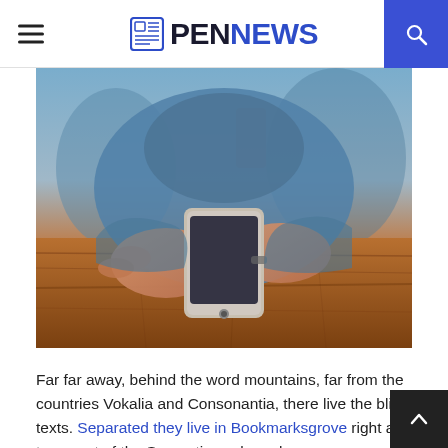PENNEWS
[Figure (photo): Close-up of a person holding a smartphone over a wooden table, with a blurred cafe background.]
Far far away, behind the word mountains, far from the countries Vokalia and Consonantia, there live the blind texts. Separated they live in Bookmarksgrove right at the coast of the Semantics, a large language ocean. A small river named Duden flows by their place and supplies it